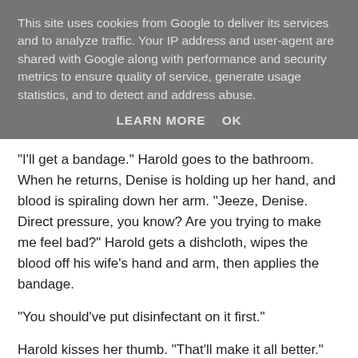This site uses cookies from Google to deliver its services and to analyze traffic. Your IP address and user-agent are shared with Google along with performance and security metrics to ensure quality of service, generate usage statistics, and to detect and address abuse.
LEARN MORE    OK
"I'll get a bandage." Harold goes to the bathroom. When he returns, Denise is holding up her hand, and blood is spiraling down her arm. "Jeeze, Denise. Direct pressure, you know? Are you trying to make me feel bad?" Harold gets a dishcloth, wipes the blood off his wife's hand and arm, then applies the bandage.
"You should've put disinfectant on it first."
Harold kisses her thumb. "That'll make it all better."
Denise rolls her eyes. Harold goes out to the patio. He aims the telescope at the moon and stoops so quickly to peer